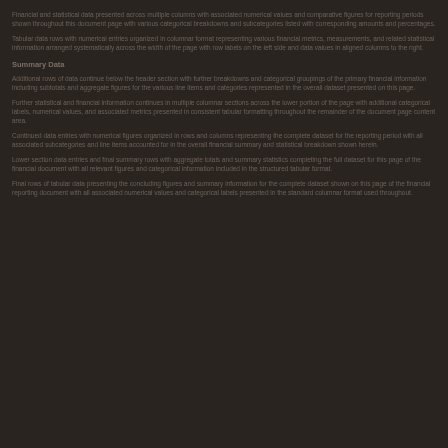Financial data and related information presented in this document is largely illegible due to low contrast dark background rendering.
The page appears to contain tabular financial data with multiple columns and rows of numerical values, presented against a very dark background making the content difficult to discern.
Multiple sections of text and data are visible as faint lighter-colored text against the dark background throughout the page.